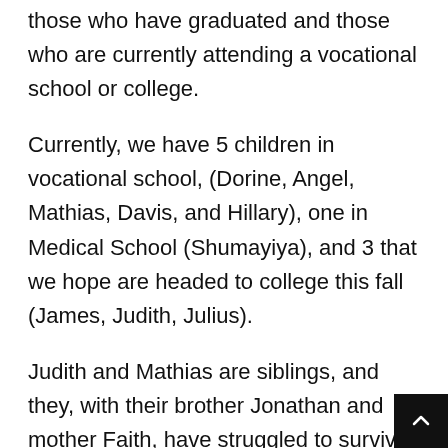those who have graduated and those who are currently attending a vocational school or college.
Currently, we have 5 children in vocational school, (Dorine, Angel, Mathias, Davis, and Hillary), one in Medical School (Shumayiya), and 3 that we hope are headed to college this fall (James, Judith, Julius).
Judith and Mathias are siblings, and they, with their brother Jonathan and mother Faith, have struggled to survive since their father died several years ago.